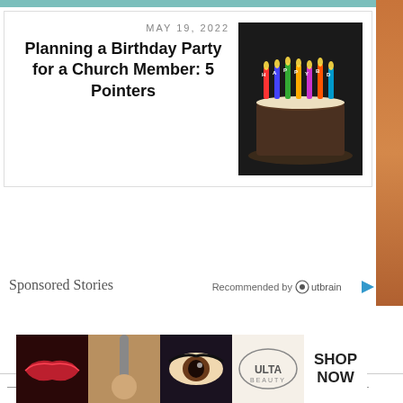MAY 19, 2022
Planning a Birthday Party for a Church Member: 5 Pointers
[Figure (photo): Birthday cake with colorful candles spelling BIRTHDAY on a dark background]
Sponsored Stories
Recommended by Outbrain
BROWSE OUR ARCHIVES
[Figure (photo): Ulta Beauty advertisement banner showing makeup images and Shop Now button]